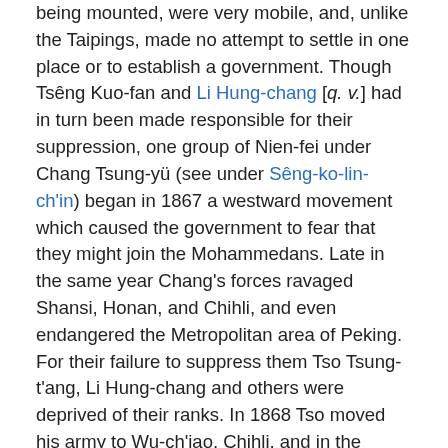being mounted, were very mobile, and, unlike the Taipings, made no attempt to settle in one place or to establish a government. Though Tsêng Kuo-fan and Li Hung-chang [q. v.] had in turn been made responsible for their suppression, one group of Nien-fei under Chang Tsung-yü (see under Sêng-ko-lin-ch'in) began in 1867 a westward movement which caused the government to fear that they might join the Mohammedans. Late in the same year Chang's forces ravaged Shansi, Honan, and Chihli, and even endangered the Metropolitan area of Peking. For their failure to suppress them Tso Tsung-t'ang, Li Hung-chang and others were deprived of their ranks. In 1868 Tso moved his army to Wu-ch'iao, Chihli, and in the summer the Nien-fei were surrounded and annihilated at Ch'ih-p'ing, Shantung, by combined government forces. Tso's rank was restored to him and he was ordered to Peking for audiences with the Emperor (September 25, 30, 1868). By November 26 he was in Sian, the capital of